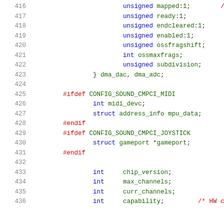416   unsigned mapped:1;   /* OSS
417   unsigned ready:1;
418   unsigned endcleared:1;
419   unsigned enabled:1;
420   unsigned ossfragshift;
421   int ossmaxfrags;
422   unsigned subdivision;
423   } dma_dac, dma_adc;
424
425   #ifdef CONFIG_SOUND_CMPCI_MIDI
426       int midi_devc;
427       struct address_info mpu_data;
428   #endif
429   #ifdef CONFIG_SOUND_CMPCI_JOYSTICK
430       struct gameport *gameport;
431   #endif
432
433       int     chip_version;
434       int     max_channels;
435       int     curr_channels;
436       int     capability;     /* HW c